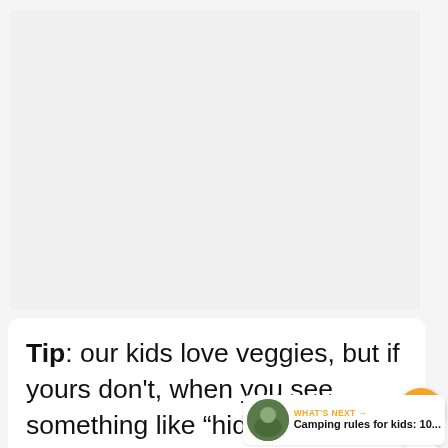[Figure (other): Light gray advertisement placeholder area]
Tip:  our kids love veggies, but if yours don't, when you see something like “hidden veggie” or “healthy___” you don’t have to tell them that it’s good for them initially... but then when they like
[Figure (other): Orange circular heart/favorite button icon]
[Figure (other): White circular share button icon]
WHAT’S NEXT → Camping rules for kids: 10...